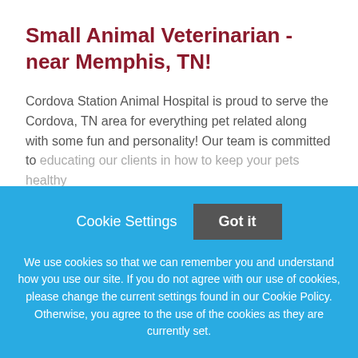Small Animal Veterinarian - near Memphis, TN!
Cordova Station Animal Hospital is proud to serve the Cordova, TN area for everything pet related along with some fun and personality! Our team is committed to educating our clients in how to keep your pets healthy
This job listing is no longer active.
Cookie Settings
Got it
We use cookies so that we can remember you and understand how you use our site. If you do not agree with our use of cookies, please change the current settings found in our Cookie Policy. Otherwise, you agree to the use of the cookies as they are currently set.